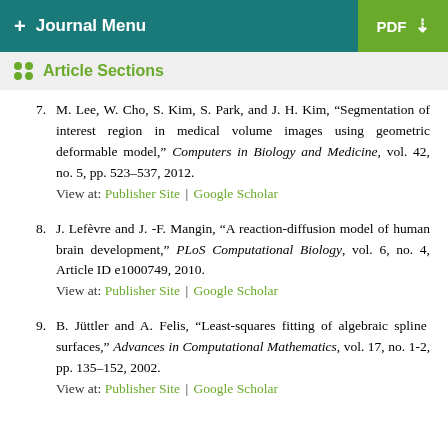+ Journal Menu | PDF ↓
Article Sections
7. M. Lee, W. Cho, S. Kim, S. Park, and J. H. Kim, "Segmentation of interest region in medical volume images using geometric deformable model," Computers in Biology and Medicine, vol. 42, no. 5, pp. 523–537, 2012. View at: Publisher Site | Google Scholar
8. J. Lefèvre and J. -F. Mangin, "A reaction-diffusion model of human brain development," PLoS Computational Biology, vol. 6, no. 4, Article ID e1000749, 2010. View at: Publisher Site | Google Scholar
9. B. Jüttler and A. Felis, "Least-squares fitting of algebraic spline surfaces," Advances in Computational Mathematics, vol. 17, no. 1-2, pp. 135–152, 2002. View at: Publisher Site | Google Scholar